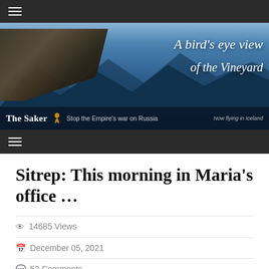[Figure (screenshot): Website header banner for 'The Saker' blog showing a falcon/saker hawk with mountains in background. Text reads 'A bird's eye view of the Vineyard'. Bottom bar shows 'The Saker' with orange ribbon, tagline 'Stop the Empire's war on Russia', and 'Now flying in Iceland'.]
Sitrep: This morning in Maria's office …
14685 Views
December 05, 2021
52 Comments
Posted by Amarynth